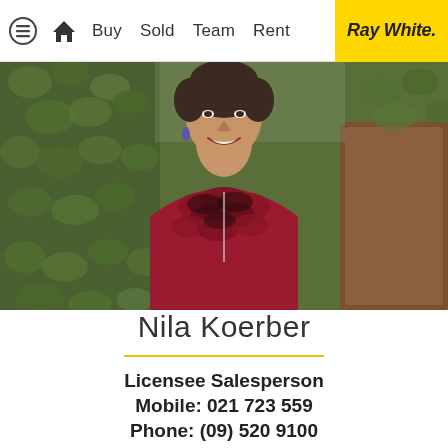Buy  Sold  Team  Rent  Ray White.
[Figure (photo): Portrait photo of Nila Koerber, a woman with short dark hair, smiling, wearing a red and black ruffled top, standing in front of green ivy foliage.]
Nila Koerber
Licensee Salesperson
Mobile: 021 723 559
Phone: (09) 520 9100